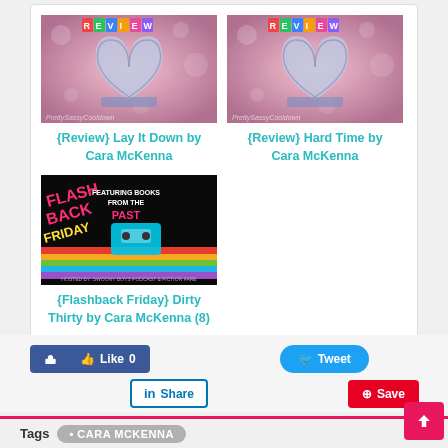[Figure (illustration): Book pages folded into heart shape with bokeh background and REVIEW banner, for Lay It Down by Cara McKenna]
{Review} Lay It Down by Cara McKenna
[Figure (illustration): Book pages folded into heart shape with bokeh background and REVIEW banner, for Hard Time by Cara McKenna]
{Review} Hard Time by Cara McKenna
[Figure (illustration): Flashback Friday featuring books from the past, hosted by Swoony Boys Podcast and Fiction Fare, retro neon design]
{Flashback Friday} Dirty Thirty by Cara McKenna (8)
Like 0
Tweet
Share
Save
Tags
CARA MCKENNA